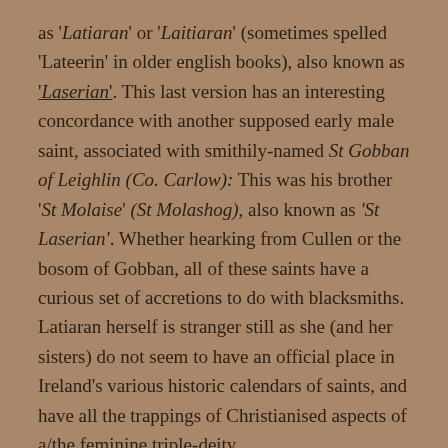as 'Latiaran' or 'Laitiaran' (sometimes spelled 'Lateerin' in older english books), also known as 'Laserian'. This last version has an interesting concordance with another supposed early male saint, associated with smithily-named St Gobban of Leighlin (Co. Carlow): This was his brother 'St Molaise' (St Molashog), also known as 'St Laserian'. Whether hearking from Cullen or the bosom of Gobban, all of these saints have a curious set of accretions to do with blacksmiths. Latiaran herself is stranger still as she (and her sisters) do not seem to have an official place in Ireland's various historic calendars of saints, and have all the trappings of Christianised aspects of a/the feminine triple-deity.
The popular story about Laitiaran of Cullen, recorded by travellers there in the early 19thC was that the saint...